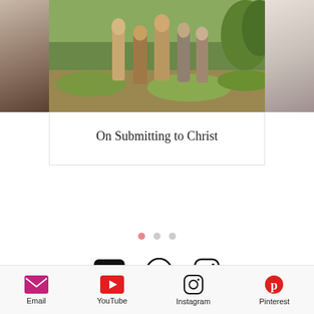[Figure (photo): A group of people in biblical-era robes standing in a field, partially visible. Left and right edges show cropped adjacent carousel images.]
On Submitting to Christ
[Figure (infographic): Carousel pagination dots: one pink active dot followed by two grey inactive dots]
[Figure (infographic): Social media icons row: YouTube (play button in rounded rectangle), Pinterest (P logo), Instagram (camera outline)]
Join the list, and never miss a post!
Email Address
Subscribe Now
Email   YouTube   Instagram   Pinterest